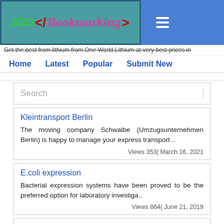[Figure (logo): SEO Bookmarking website logo banner with teal background, hamburger menu button on blue background]
Get the best from lithium from One World Lithium at very best prices in
Home   Latest   Popular   Submit New
Search
Kleintransport Berlin
The moving company Schwalbe (Umzugsunternehmen Berlin) is happy to manage your express transport ..
Views 353| March 16, 2021
E.coli expression
Bacterial expression systems have been proved to be the preferred option for laboratory investiga..
Views 864| June 21, 2019
Adeno-associated Virus Vector - Creative Biolabs
Creative Biolabs provides the state-of-the-art adenoviral vector with the various design and cons..